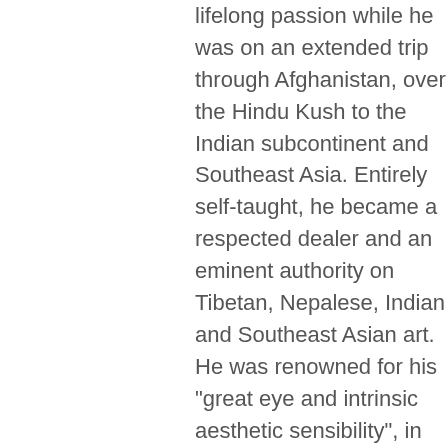lifelong passion while he was on an extended trip through Afghanistan, over the Hindu Kush to the Indian subcontinent and Southeast Asia. Entirely self-taught, he became a respected dealer and an eminent authority on Tibetan, Nepalese, Indian and Southeast Asian art. He was renowned for his "great eye and intrinsic aesthetic sensibility", in the words of his friend, the museum curator and scholar of Southeast Asian and Himalayan art and culture, Dr. Pratapaditya Pal.
In his later years, de Marteau increasingly withdrew from public life. Although he displayed some of his collection within his mansion in the diplomatic quarter of Brussels, he kept most works in storage. As a result, only